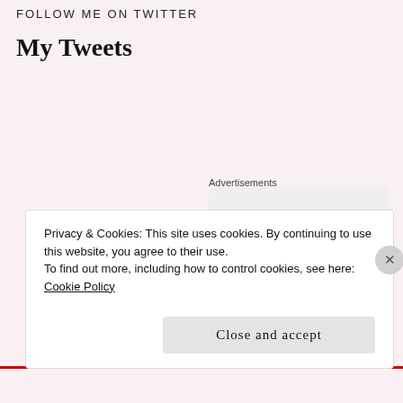FOLLOW ME ON TWITTER
My Tweets
Advertisements
[Figure (screenshot): Advertisement box with text 'Business in the front...' and a colorful button showing 'WordP' partially visible]
Privacy & Cookies: This site uses cookies. By continuing to use this website, you agree to their use.
To find out more, including how to control cookies, see here:
Cookie Policy
Close and accept